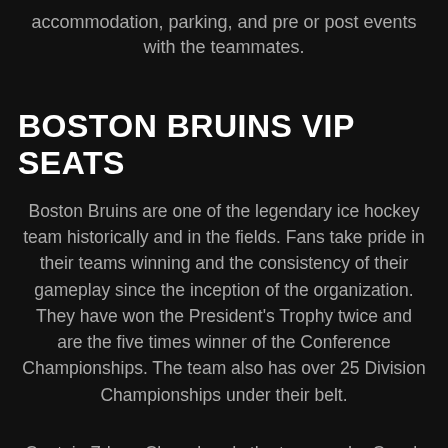accommodation, parking, and pre or post events with the teammates.
BOSTON BRUINS VIP SEATS
Boston Bruins are one of the legendary ice hockey team historically and in the fields. Fans take pride in their teams winning and the consistency of their gameplay since the inception of the organization. They have won the President's Trophy twice and are the five times winner of the Conference Championships. The team also has over 25 Division Championships under their belt.
Captain Zdeno Chara heads the team under Coach Bruce Cassidy. David Pastrnak was named the MVP for